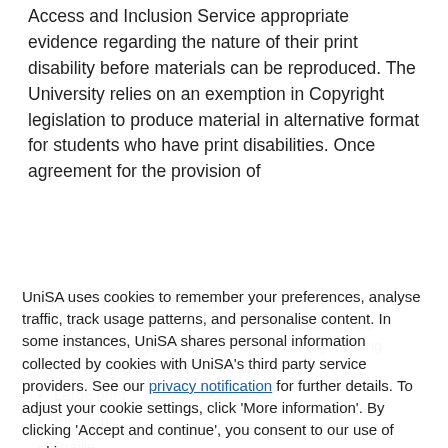Access and Inclusion Service appropriate evidence regarding the nature of their print disability before materials can be reproduced. The University relies on an exemption in Copyright legislation to produce material in alternative format for students who have print disabilities. Once agreement for the provision of
UniSA uses cookies to remember your preferences, analyse traffic, track usage patterns, and personalise content. In some instances, UniSA shares personal information collected by cookies with UniSA's third party service providers. See our privacy notification for further details. To adjust your cookie settings, click 'More information'. By clicking 'Accept and continue', you consent to our use of cookies.
services is reached the service can arrange access to materials in the following formats, remembering your preferences, analysing opening or converting existing materials to the required material.
Large print
Electronic
Braille
Audio Requesting print materials...
Requests for provision of material in alternative formats should be directed to the Access and Inclusion Service. It is important that students who require print materials in alternative format identify the print materials and the format they require as soon...